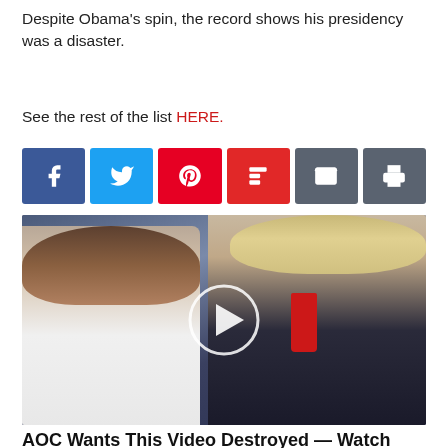Despite Obama’s spin, the record shows his presidency was a disaster.
See the rest of the list HERE.
[Figure (other): Social media share buttons: Facebook, Twitter, Pinterest, Flipboard, Email, Print]
[Figure (photo): Photo of a woman and a man (resembling Melania and Donald Trump) with a video play button overlay]
AOC Wants This Video Destroyed — Watch